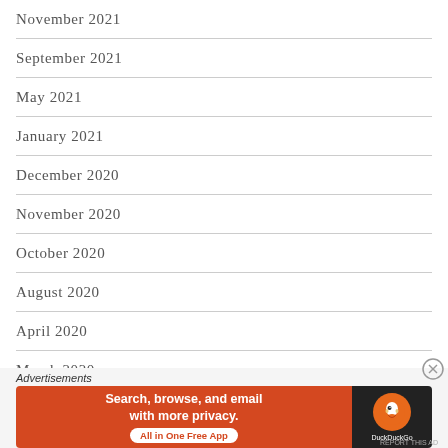November 2021
September 2021
May 2021
January 2021
December 2020
November 2020
October 2020
August 2020
April 2020
March 2020
January 2020
Advertisements
[Figure (other): DuckDuckGo advertisement banner: 'Search, browse, and email with more privacy. All in One Free App' with DuckDuckGo logo on dark background]